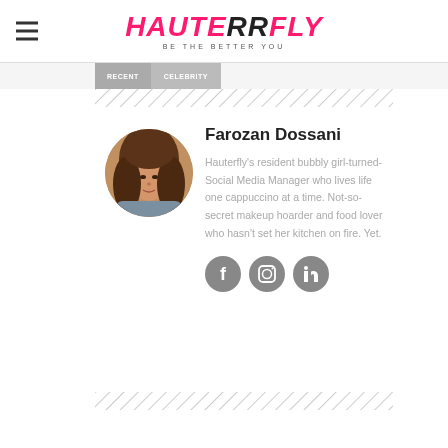HAUTERRFLY — BE THE BETTER YOU
Farozan Dossani
Hauterfly's resident bubbly girl-turned-Social Media Manager who lives life one cappuccino at a time. Not-so-secret makeup hoarder and food lover who hasn't set her kitchen on fire. Yet.
[Figure (illustration): Social media icons: Facebook, Instagram, LinkedIn in circular grey buttons]